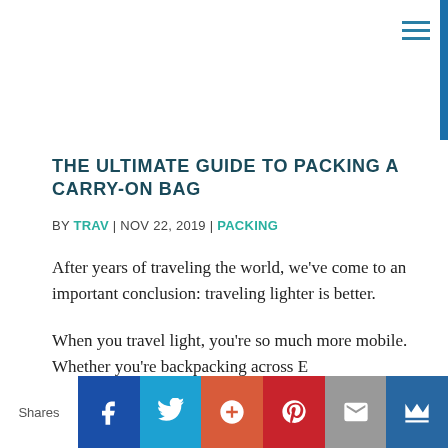THE ULTIMATE GUIDE TO PACKING A CARRY-ON BAG
BY TRAV | NOV 22, 2019 | PACKING
After years of traveling the world, we've come to an important conclusion: traveling lighter is better.
When you travel light, you're so much more mobile. Whether you're backpacking across E…
Shares | Facebook | Twitter | Google+ | Pinterest | Email | Crown